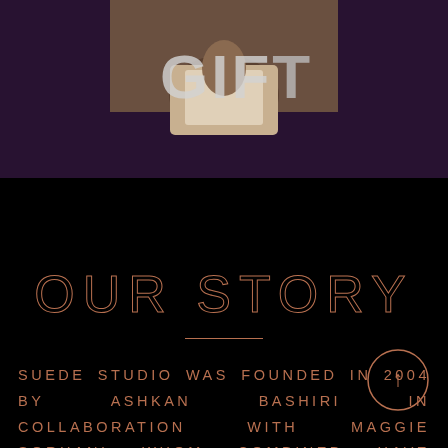[Figure (photo): Partial photo of a person in white shirt with large bold 'GIFT' text overlay on dark purple/brown background]
OUR STORY
SUEDE STUDIO WAS FOUNDED IN 2004 BY ASHKAN BASHIRI IN COLLABORATION WITH MAGGIE SORHANI WHOM COMBINED HAVE